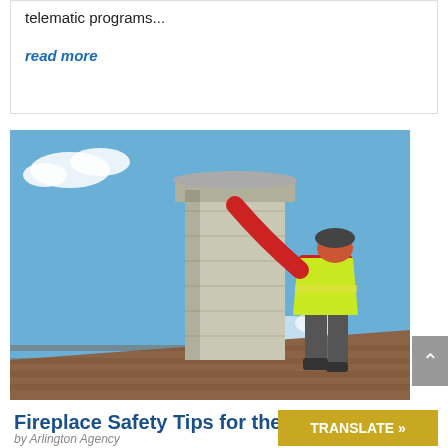telematic programs...
read more
[Figure (photo): Worker in yellow high-visibility vest and helmet working on a chimney cap on a rooftop, against a blue sky background.]
Fireplace Safety Tips for the Holidays
by Arlington Agency
TRANSLATE »